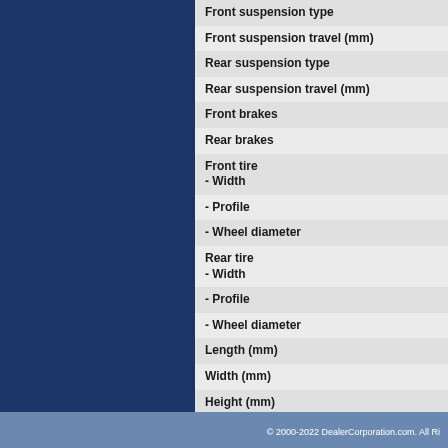| Specification |
| --- |
| Front suspension type |
| Front suspension travel (mm) |
| Rear suspension type |
| Rear suspension travel (mm) |
| Front brakes |
| Rear brakes |
| Front tire
- Width |
| - Profile |
| - Wheel diameter |
| Rear tire
- Width |
| - Profile |
| - Wheel diameter |
| Length (mm) |
| Width (mm) |
| Height (mm) |
| Weelbase (mm) |
| Seat height (mm) |
| Ground clearance (mm) |
| Weight (kg) |
| Fuel capacity (L) |
| Colour(s) |
© 2000-2022 DealerCorporation.com. All Ri